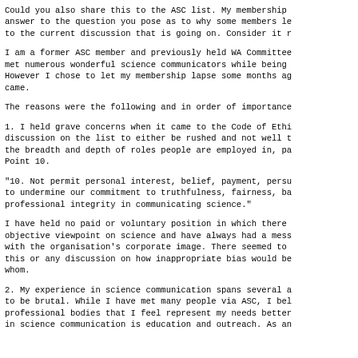Could you also share this to the ASC list. My membership answer to the question you pose as to why some members le to the current discussion that is going on. Consider it r
I am a former ASC member and previously held WA Committee met numerous wonderful science communicators while being However I chose to let my membership lapse some months ag came.
The reasons were the following and in order of importance
1. I held grave concerns when it came to the Code of Ethi discussion on the list to either be rushed and not well t the breadth and depth of roles people are employed in, pa Point 10.
"10. Not permit personal interest, belief, payment, persu to undermine our commitment to truthfulness, fairness, ba professional integrity in communicating science."
I have held no paid or voluntary position in which there objective viewpoint on science and have always had a mess with the organisation's corporate image. There seemed to this or any discussion on how inappropriate bias would be whom.
2. My experience in science communication spans several a to be brutal. While I have met many people via ASC, I bel professional bodies that I feel represent my needs better in science communication is education and outreach. As an